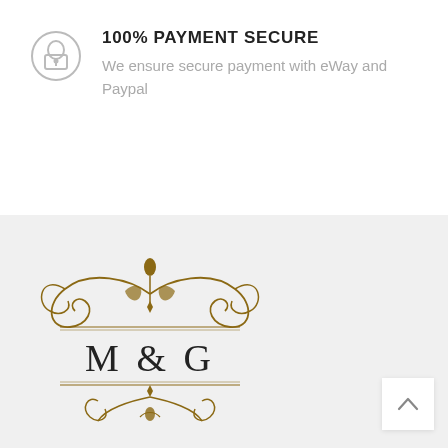[Figure (logo): Keyhole lock icon inside a circle, outline style, grey color]
100% PAYMENT SECURE
We ensure secure payment with eWay and Paypal
[Figure (logo): M & G ornamental logo with gold/brown decorative flourishes and serif text]